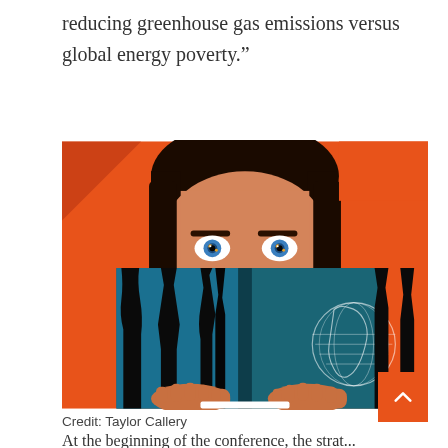reducing greenhouse gas emissions versus global energy poverty.”
[Figure (illustration): Illustration by Taylor Callery: A young woman with dark hair peers over the top of an open teal/dark blue book held up to her face. The book has black dripping paint effects and a white globe outline on the right cover. The background is a bright orange-red color. The woman's eyes are visible above the book, looking forward.]
Credit: Taylor Callery
At the beginning of the conference, the strategy is...